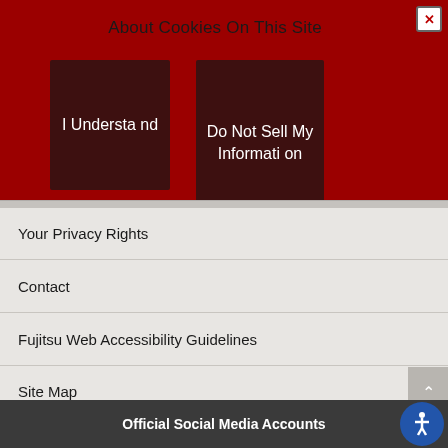About Cookies On This Site
I Understand
Do Not Sell My Information
Your Privacy Rights
Contact
Fujitsu Web Accessibility Guidelines
Site Map
Official Social Media Accounts